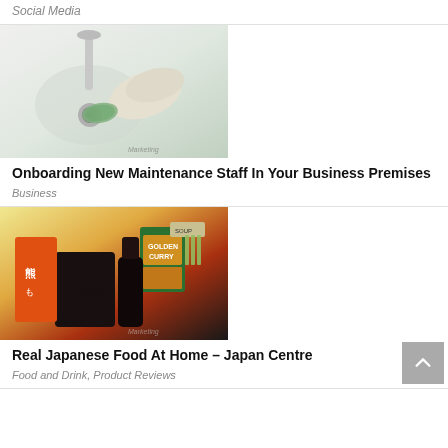Social Media
[Figure (photo): A gloved hand scrubbing a sink drain with a green sponge, cleaning/maintenance context. Watermark: Marketing]
Onboarding New Maintenance Staff In Your Business Premises
Business
[Figure (photo): Assortment of Japanese food products including Golden Curry box, udon noodles, soy sauce, soup packets, and other Japanese grocery items. Watermark: Marketing]
Real Japanese Food At Home – Japan Centre
Food and Drink,  Product Reviews